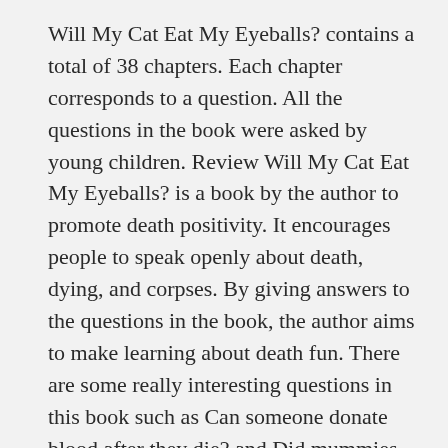Will My Cat Eat My Eyeballs? contains a total of 38 chapters. Each chapter corresponds to a question. All the questions in the book were asked by young children. Review Will My Cat Eat My Eyeballs? is a book by the author to promote death positivity. It encourages people to speak openly about death, dying, and corpses. By giving answers to the questions in the book, the author aims to make learning about death fun. There are some really interesting questions in this book such as Can someone donate blood after they die? and Did mummies stink when they were wrapped? The answers are extensively researched and not based on personal opinion or experience per se. Lots of...